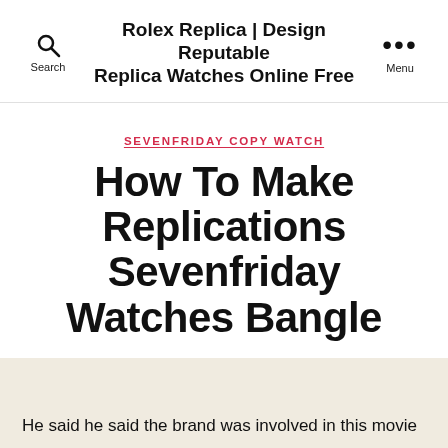Rolex Replica | Design Reputable Replica Watches Online Free
SEVENFRIDAY COPY WATCH
How To Make Replications Sevenfriday Watches Bangle
By admin  June 22, 2022  No Comments
He said he said the brand was involved in this movie